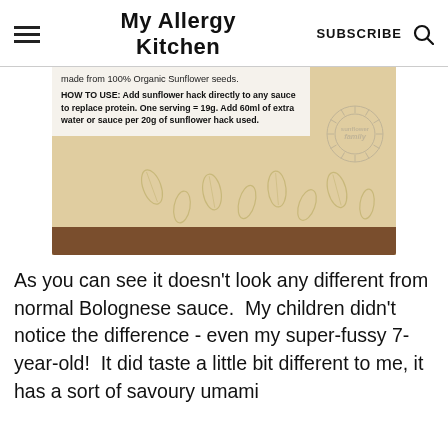My Allergy Kitchen  SUBSCRIBE
[Figure (photo): Close-up photo of a product package label for sunflower hack. The label reads: 'made from 100% Organic Sunflower seeds. HOW TO USE: Add sunflower hack directly to any sauce to replace protein. One serving = 19g. Add 60ml of extra water or sauce per 20g of sunflower hack used.' A circular 'sunflower family' logo/stamp is visible on the right side. The lower portion shows a seed-pattern printed bag and a brown wooden surface.]
As you can see it doesn't look any different from normal Bolognese sauce.  My children didn't notice the difference - even my super-fussy 7-year-old!  It did taste a little bit different to me, it has a sort of savoury umami